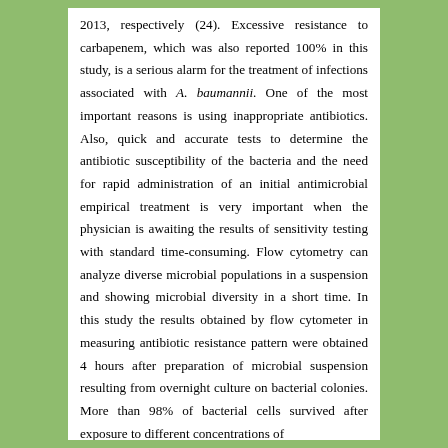2013, respectively (24). Excessive resistance to carbapenem, which was also reported 100% in this study, is a serious alarm for the treatment of infections associated with A. baumannii. One of the most important reasons is using inappropriate antibiotics. Also, quick and accurate tests to determine the antibiotic susceptibility of the bacteria and the need for rapid administration of an initial antimicrobial empirical treatment is very important when the physician is awaiting the results of sensitivity testing with standard time-consuming. Flow cytometry can analyze diverse microbial populations in a suspension and showing microbial diversity in a short time. In this study the results obtained by flow cytometer in measuring antibiotic resistance pattern were obtained 4 hours after preparation of microbial suspension resulting from overnight culture on bacterial colonies. More than 98% of bacterial cells survived after exposure to different concentrations of